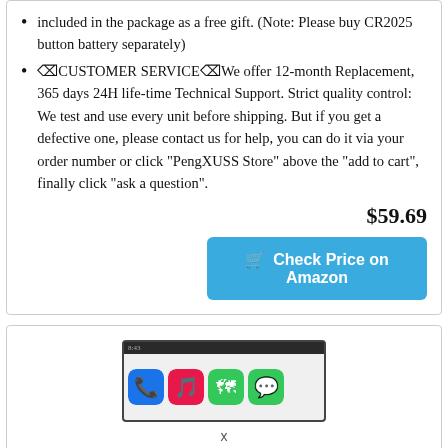included in the package as a free gift. (Note: Please buy CR2025 button battery separately)
🔧CUSTOMER SERVICE🔧We offer 12-month Replacement, 365 days 24H life-time Technical Support. Strict quality control: We test and use every unit before shipping. But if you get a defective one, please contact us for help, you can do it via your order number or click "PengXUSS Store" above the "add to cart", finally click "ask a question".
$59.69
Check Price on Amazon
[Figure (photo): Car stereo head unit screen showing app icons including phone, music, maps, and messages on a green/colorful interface]
x